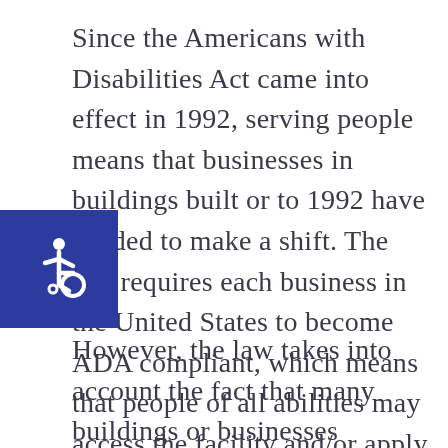Since the Americans with Disabilities Act came into effect in 1992, serving people means that businesses in buildings built or to 1992 have needed to make a shift. The law requires each business in the United States to become ADA compliant, which means that people of all abilities may access the facility and/or apply to work there in a fair manner. Actions must be taken to make your building accessible.
[Figure (illustration): Wheelchair accessibility icon — white figure in wheelchair on blue square background]
However, the law takes into account the fact that many buildings or businesses...